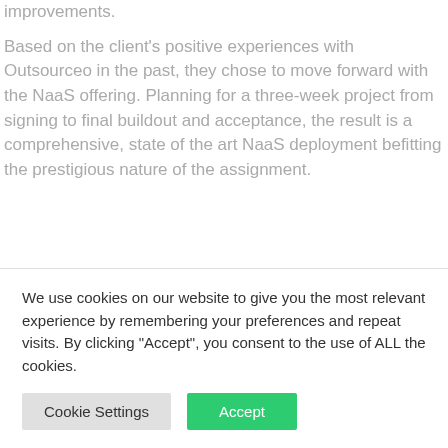improvements.
Based on the client's positive experiences with Outsourceo in the past, they chose to move forward with the NaaS offering. Planning for a three-week project from signing to final buildout and acceptance, the result is a comprehensive, state of the art NaaS deployment befitting the prestigious nature of the assignment.
[Figure (photo): Broken/missing image placeholder with small icon in top-left corner]
We use cookies on our website to give you the most relevant experience by remembering your preferences and repeat visits. By clicking “Accept”, you consent to the use of ALL the cookies.